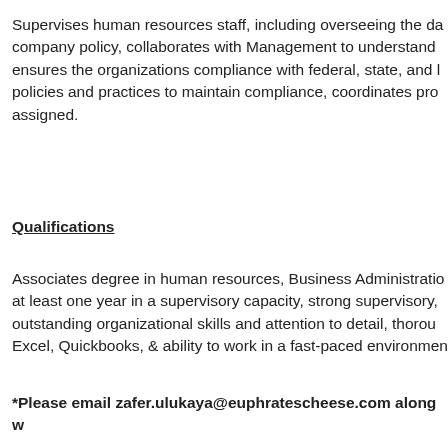Supervises human resources staff, including overseeing the da company policy, collaborates with Management to understand ensures the organizations compliance with federal, state, and l policies and practices to maintain compliance, coordinates pro assigned.
Qualifications
Associates degree in human resources, Business Administratio at least one year in a supervisory capacity, strong supervisory, outstanding organizational skills and attention to detail, thorou Excel, Quickbooks, & ability to work in a fast-paced environmen
*Please email zafer.ulukaya@euphratescheese.com along w